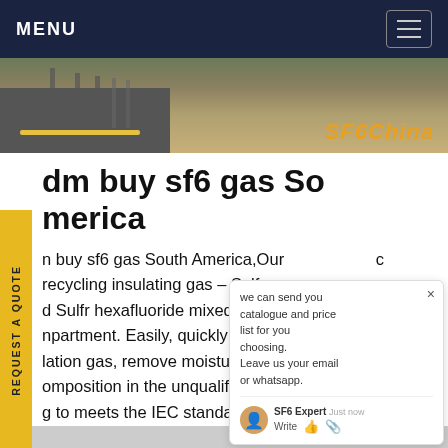MENU
[Figure (photo): Hero banner image showing a road with yellow line and dry grass landscape, with 'SF6China' brand text in orange italic on the right side]
dm buy sf6 gas South America
n buy sf6 gas South America,Our c recycling insulating gas – Sulfr e as d Sulfr hexafluoride mixed gas in y npartment. Easily, quickly and safely treat your lation gas, remove moisture, impurities, omposition in the unqualified Sulfr hexafluoride g to meets the IEC standard, and realize waste gas can be reused again. 750kv-substation-onsite-service.Get price
[Figure (screenshot): Chat popup widget showing text 'we can send you catalogue and price list for you choosing. Leave us your email or whatsapp.' with SF6 Expert agent and close button, and green chat bubble button with badge showing 1]
[Figure (other): Yellow 'REQUEST A QUOTE' vertical side button on left edge]
[Figure (other): Yellow back-to-top arrow button in bottom right]